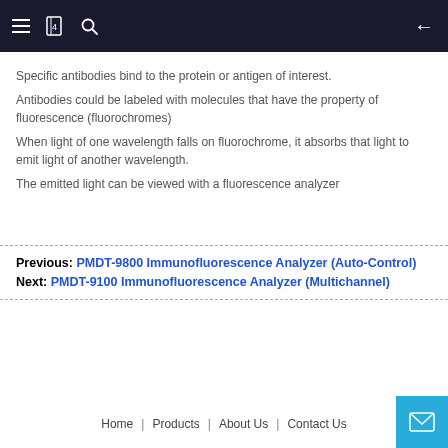Navigation bar with menu, book, search icons and back arrow
Specific antibodies bind to the protein or antigen of interest.
Antibodies could be labeled with molecules that have the property of fluorescence (fluorochromes)
When light of one wavelength falls on fluorochrome, it absorbs that light to emit light of another wavelength.
The emitted light can be viewed with a fluorescence analyzer
Previous: PMDT-9800 Immunofluorescence Analyzer (Auto-Control)
Next: PMDT-9100 Immunofluorescence Analyzer (Multichannel)
Home | Products | About Us | Contact Us